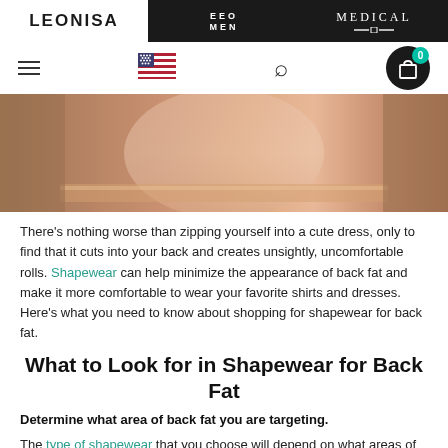LEONISA | MEN | MEDICAL
[Figure (photo): Close-up of a person wearing beige/nude shapewear, showing torso and back area]
There's nothing worse than zipping yourself into a cute dress, only to find that it cuts into your back and creates unsightly, uncomfortable rolls. Shapewear can help minimize the appearance of back fat and make it more comfortable to wear your favorite shirts and dresses. Here's what you need to know about shopping for shapewear for back fat.
What to Look for in Shapewear for Back Fat
Determine what area of back fat you are targeting.
The type of shapewear that you choose will depend on what areas of your body that you want to shape, and this is true for back fat as